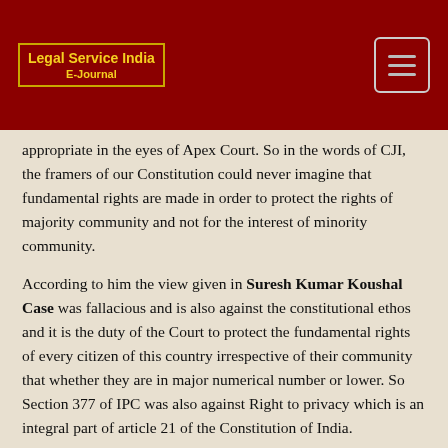Legal Service India E-Journal
appropriate in the eyes of Apex Court. So in the words of CJI, the framers of our Constitution could never imagine that fundamental rights are made in order to protect the rights of majority community and not for the interest of minority community.
According to him the view given in Suresh Kumar Koushal Case was fallacious and is also against the constitutional ethos and it is the duty of the Court to protect the fundamental rights of every citizen of this country irrespective of their community that whether they are in major numerical number or lower. So Section 377 of IPC was also against Right to privacy which is an integral part of article 21 of the Constitution of India.
As for the 4th issue, the Court is of the view that
Section 377 of IPC violates Article 19(1)(a) of LGBT community people which it restricts them from expressing their words or their choices. It established unreasonable